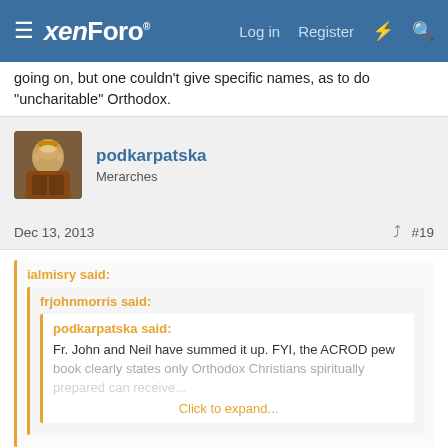xenForo — Log in | Register
going on, but one couldn't give specific names, as to do "uncharitable" Orthodox.
podkarpatska
Merarches
Dec 13, 2013   #19
ialmisry said:
 frjohnmorris said:
  podkarpatska said:
  Fr. John and Neil have summed it up. FYI, the ACROD pew book clearly states only Orthodox Christians spiritually prepared can receive... Click to expand...
I suspect that there are lone wolves out there doing this. (Not